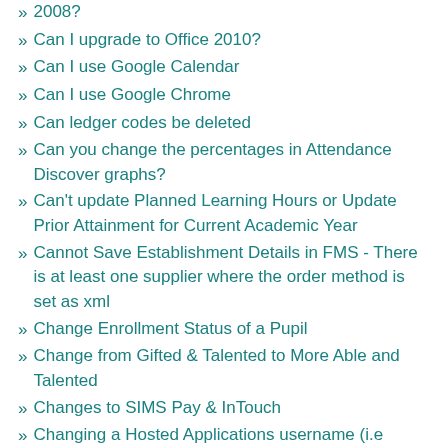2008?
Can I upgrade to Office 2010?
Can I use Google Calendar
Can I use Google Chrome
Can ledger codes be deleted
Can you change the percentages in Attendance Discover graphs?
Can't update Planned Learning Hours or Update Prior Attainment for Current Academic Year
Cannot Save Establishment Details in FMS - There is at least one supplier where the order method is set as xml
Change Enrollment Status of a Pupil
Change from Gifted & Talented to More Able and Talented
Changes to SIMS Pay & InTouch
Changing a Hosted Applications username (i.e